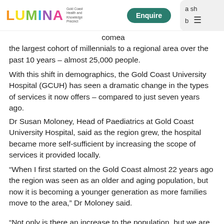LUMINA Gold Coast Health and Knowledge Precinct | Enquire
…comea the largest cohort of millennials to a regional area over the past 10 years – almost 25,000 people.
With this shift in demographics, the Gold Coast University Hospital (GCUH) has seen a dramatic change in the types of services it now offers – compared to just seven years ago.
Dr Susan Moloney, Head of Paediatrics at Gold Coast University Hospital, said as the region grew, the hospital became more self-sufficient by increasing the scope of services it provided locally.
“When I first started on the Gold Coast almost 22 years ago the region was seen as an older and aging population, but now it is becoming a younger generation as more families move to the area,” Dr Moloney said.
“Not only is there an increase to the population, but we are